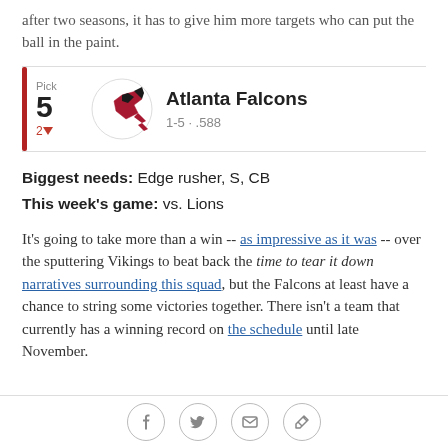after two seasons, it has to give him more targets who can put the ball in the paint.
[Figure (infographic): Pick card for Atlanta Falcons: Pick number 5, down 2, record 1-5 · .588, with team logo]
Biggest needs: Edge rusher, S, CB
This week's game: vs. Lions
It's going to take more than a win -- as impressive as it was -- over the sputtering Vikings to beat back the time to tear it down narratives surrounding this squad, but the Falcons at least have a chance to string some victories together. There isn't a team that currently has a winning record on the schedule until late November.
[Figure (infographic): Social share bar with Facebook, Twitter, email, and link icons]